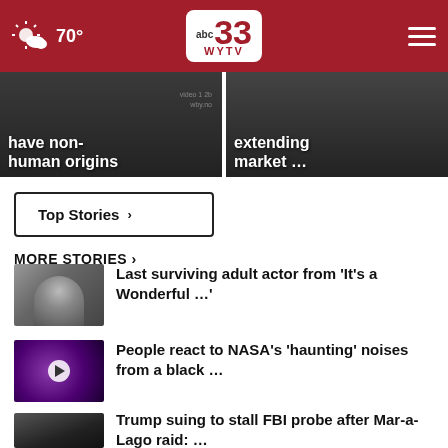70° | ABC 33 WYTV
[Figure (screenshot): Left hero banner: partial headline '...have non-human origins' on dark background with watermark text 'video 1 2b wby.no']
[Figure (screenshot): Right hero banner: partial headline '...extending market ...' on dark background]
Top Stories ›
MORE STORIES ›
[Figure (photo): Black and white photo thumbnail of person looking up]
Last surviving adult actor from 'It's a Wonderful …'
[Figure (photo): Purple/dark thumbnail of black hole with play button overlay]
People react to NASA's 'haunting' noises from a black …
[Figure (photo): Dark thumbnail photo of Trump]
Trump suing to stall FBI probe after Mar-a-Lago raid: …